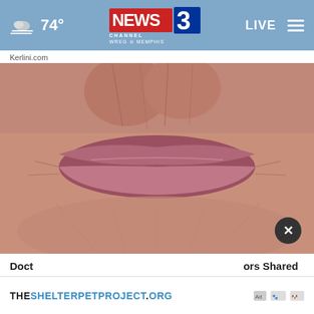74° NEWS CHANNEL 3 WREG MEMPHIS | LIVE
Kerlini.com
[Figure (photo): Extreme close-up photograph of elderly person's wrinkled lips and skin around the mouth area]
Doctors Shared This Dangerous Weight-Like Crazy (Try T...
Rejuval...
[Figure (other): Advertisement banner for THESHELTERPETPROJECT.ORG with AdChoices icon]